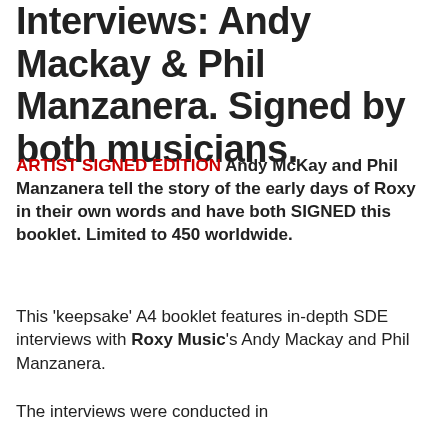Interviews: Andy Mackay & Phil Manzanera. Signed by both musicians.
ARTIST SIGNED EDITION Andy McKay and Phil Manzanera tell the story of the early days of Roxy in their own words and have both SIGNED this booklet. Limited to 450 worldwide.
This 'keepsake' A4 booklet features in-depth SDE interviews with Roxy Music's Andy Mackay and Phil Manzanera.
The interviews were conducted in